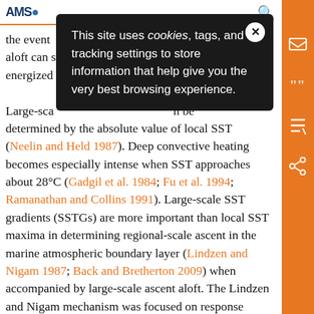AMS [logo]
[Figure (other): Cookie consent popup overlay with close button, text: This site uses cookies, tags, and tracking settings to store information that help give you the very best browsing experience.]
the event ... ds aloft can s... energized ... 0). Large-sca... n be determined by the absolute value of local SST (Neelin and Held 1987). Deep convective heating becomes especially intense when SST approaches about 28°C (Gadgil et al. 1984; Fu et al. 1994; Ramanathan and Collins 1991). Large-scale SST gradients (SSTGs) are more important than local SST maxima in determining regional-scale ascent in the marine atmospheric boundary layer (Lindzen and Nigam 1987; Back and Bretherton 2009) when accompanied by large-scale ascent aloft. The Lindzen and Nigam mechanism was focused on response